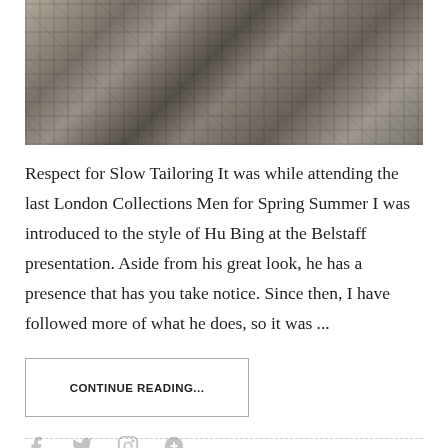[Figure (photo): Black and white photograph of a man wearing a plaid/checkered oversized blazer jacket, standing on what appears to be a London street with iron railings and flowers visible in the background.]
Respect for Slow Tailoring It was while attending the last London Collections Men for Spring Summer I was introduced to the style of Hu Bing at the Belstaff presentation. Aside from his great look, he has a presence that has you take notice. Since then, I have followed more of what he does, so it was ...
CONTINUE READING...